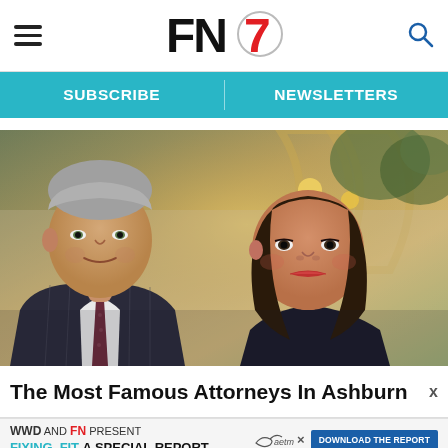FN7 — Footwear News header with hamburger menu, logo, and search icon
SUBSCRIBE | NEWSLETTERS
[Figure (photo): Two attorneys, an older silver-haired man in a pinstripe suit with a dark tie and a younger dark-haired woman, posing indoors in front of an ornate arch and chandelier background.]
The Most Famous Attorneys In Ashburn - S…
WWD AND FN PRESENT FIXING_FIT A SPECIAL REPORT DOWNLOAD THE REPORT